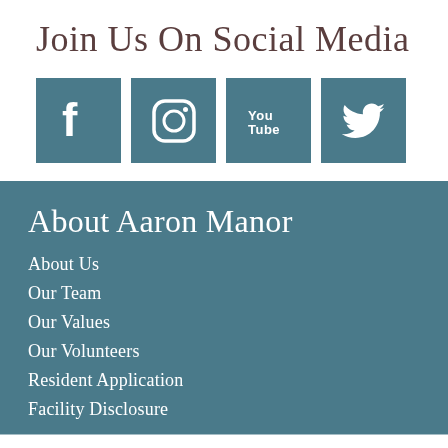Join Us On Social Media
[Figure (illustration): Four social media icons in teal square boxes: Facebook, Instagram, YouTube, Twitter]
About Aaron Manor
About Us
Our Team
Our Values
Our Volunteers
Resident Application
Facility Disclosure